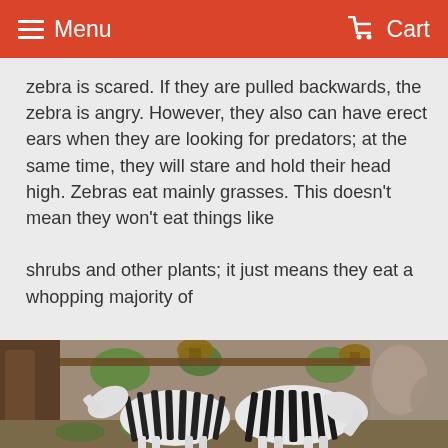Menu   Cart
zebra is scared. If they are pulled backwards, the zebra is angry. However, they also can have erect ears when they are looking for predators; at the same time, they will stare and hold their head high. Zebras eat mainly grasses. This doesn't mean they won't eat things like
shrubs and other plants; it just means they eat a whopping majority of
grasses. Most animals, even other herbivores (plant eaters), can't survive on the diet of a zebra, but a zebra's digestive system is specially designed to make the zebra survive on less nutrition than other animals.
[Figure (photo): Two zebras in an enclosure or zoo setting with rocky walls, wooden structures, green vegetation, and baskets hanging overhead.]